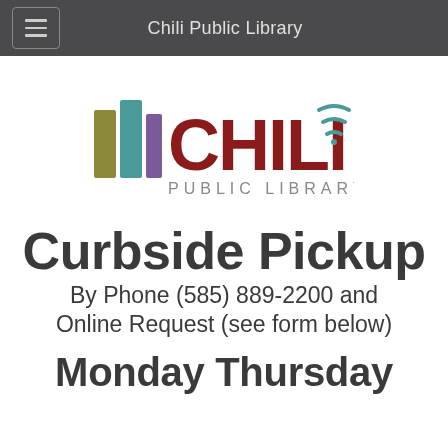Chili Public Library
[Figure (logo): Chili Public Library logo with stylized book spines in olive, teal, and purple colors, followed by CHILI in dark red with wifi signal arcs, and PUBLIC LIBRARY in grey below]
Curbside Pickup
By Phone (585) 889-2200 and Online Request (see form below)
Monday Thursday